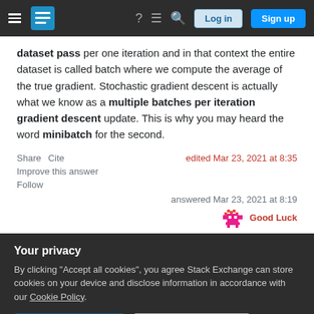Stack Exchange navigation bar with hamburger menu, logo, help, chat, search icons, Log in and Sign up buttons
dataset pass per one iteration and in that context the entire dataset is called batch where we compute the average of the true gradient. Stochastic gradient descent is actually what we know as a multiple batches per iteration gradient descent update. This is why you may heard the word minibatch for the second.
Share   Cite
Improve this answer
Follow
edited Mar 23, 2021 at 8:35
answered Mar 23, 2021 at 8:19
Good Luck
Your privacy
By clicking "Accept all cookies", you agree Stack Exchange can store cookies on your device and disclose information in accordance with our Cookie Policy.
Accept all cookies   Customize settings
gradient descent (in pink) gets stuck in a saddle